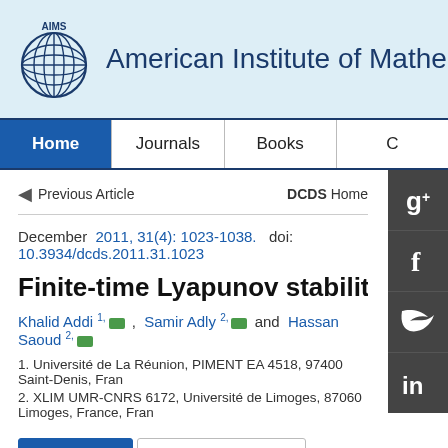[Figure (logo): AIMS globe logo with 'AIMS' text]
American Institute of Mathe…
Home | Journals | Books | …
◀ Previous Article   DCDS Home
December  2011, 31(4): 1023-1038.  doi: 10.3934/dcds.2011.31.1023
Finite-time Lyapunov stability ana…
Khalid Addi 1, Samir Adly 2, and Hassan Saoud 2,
1. Université de La Réunion, PIMENT EA 4518, 97400 Saint-Denis, Fran…
2. XLIM UMR-CNRS 6172, Université de Limoges, 87060 Limoges, France, Fran…
Abstract   Related Papers